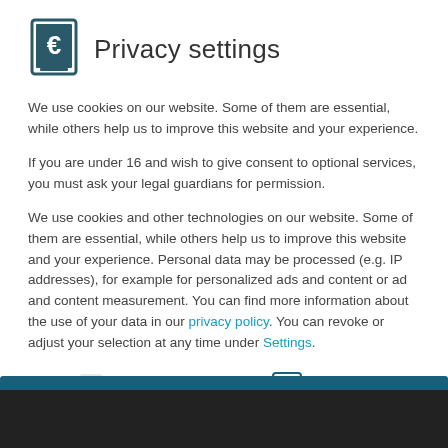Privacy settings
We use cookies on our website. Some of them are essential, while others help us to improve this website and your experience.
If you are under 16 and wish to give consent to optional services, you must ask your legal guardians for permission.
We use cookies and other technologies on our website. Some of them are essential, while others help us to improve this website and your experience. Personal data may be processed (e.g. IP addresses), for example for personalized ads and content or ad and content measurement. You can find more information about the use of your data in our privacy policy. You can revoke or adjust your selection at any time under Settings.
Essential
Statistics